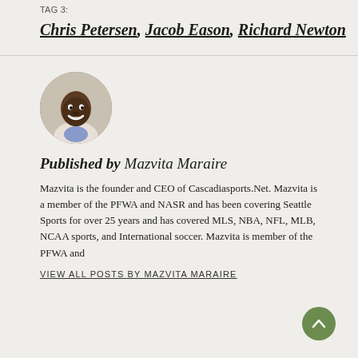TAG 3:
Chris Petersen, Jacob Eason, Richard Newton
[Figure (photo): Circular portrait photo of Mazvita Maraire, a man smiling]
Published by Mazvita Maraire
Mazvita is the founder and CEO of Cascadiasports.Net. Mazvita is a member of the PFWA and NASR and has been covering Seattle Sports for over 25 years and has covered MLS, NBA, NFL, MLB, NCAA sports, and International soccer. Mazvita is member of the PFWA and
VIEW ALL POSTS BY MAZVITA MARAIRE